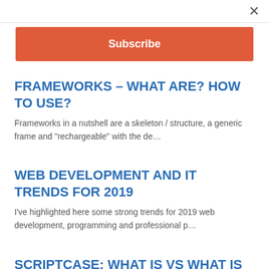×
Subscribe
FRAMEWORKS – WHAT ARE? HOW TO USE?
Frameworks in a nutshell are a skeleton / structure, a generic frame and "rechargeable" with the de…
WEB DEVELOPMENT AND IT TRENDS FOR 2019
I've highlighted here some strong trends for 2019 web development, programming and professional p…
SCRIPTCASE: WHAT IS VS WHAT IS NOT